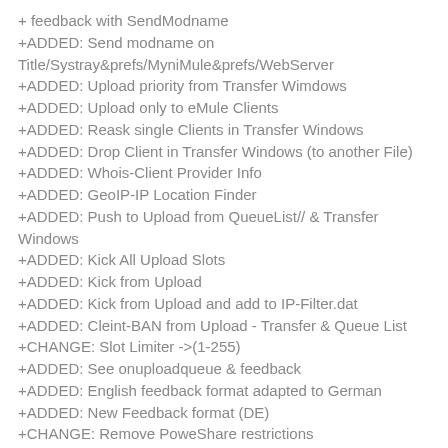+ feedback with SendModname
+ADDED: Send modname on Title/Systray&prefs/MyniMule&prefs/WebServer
+ADDED: Upload priority from Transfer Wimdows
+ADDED: Upload only to eMule Clients
+ADDED: Reask single Clients in Transfer Windows
+ADDED: Drop Client in Transfer Windows (to another File)
+ADDED: Whois-Client Provider Info
+ADDED: GeoIP-IP Location Finder
+ADDED: Push to Upload from QueueList// & Transfer Windows
+ADDED: Kick All Upload Slots
+ADDED: Kick from Upload
+ADDED: Kick from Upload and add to IP-Filter.dat
+ADDED: Cleint-BAN from Upload - Transfer & Queue List
+CHANGE: Slot Limiter ->(1-255)
+ADDED: See onuploadqueue & feedback
+ADDED: English feedback format adapted to German
+ADDED: New Feedback format (DE)
+CHANGE: Remove PoweShare restrictions
+CHANGE: Remove Friends restrictions
+CHANGE: New Leecher icon